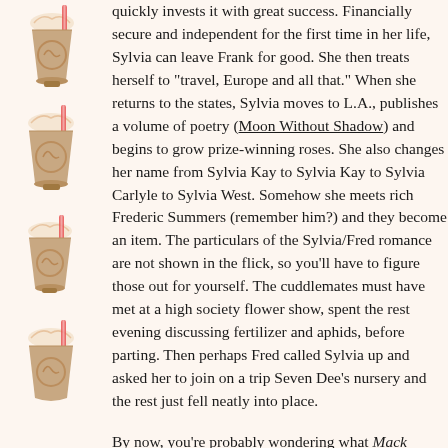[Figure (illustration): A vertical strip of illustrated milkshake/frappe cups with whipped cream and straws, repeated decoratively down the left margin of the page.]
quickly invests it with great success. Financially secure and independent for the first time in her life, Sylvia can leave Frank for good. She then treats herself to "travel, Europe and all that." When she returns to the states, Sylvia moves to L.A., publishes a volume of poetry (Moon Without Shadow) and begins to grow prize-winning roses. She also changes her name from Sylvia Kay to Sylvia Kay to Sylvia Carlyle to Sylvia West. Somehow she meets rich Frederic Summers (remember him?) and they become an item. The particulars of the Sylvia/Fred romance are not shown in the flick, so you'll have to figure those out for yourself. The cuddlemates must have met at a high society flower show, spent the rest evening discussing fertilizer and aphids, before parting. Then perhaps Fred called Sylvia up and asked her to join on a trip Seven Dee's nursery and the rest just fell neatly into place.
By now, you're probably wondering what Mack thinks. Of course, his professional ethics dictate that he must remain neutral and simply collect the facts for his employer. However, over the course of his investigation, Mack develops the hots for Sylvia. This should not surprise anyone. In fact, Mack decides to...